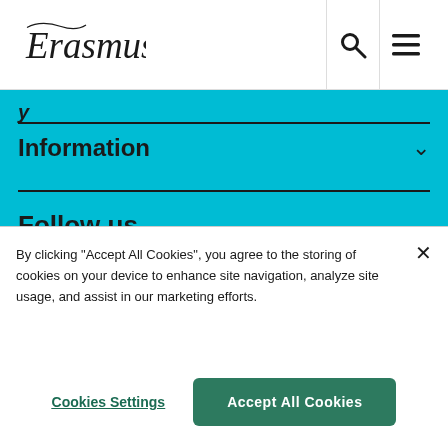Erasmus [logo]
Information
Follow us
[Figure (illustration): Social media icons: Facebook, Instagram, LinkedIn, YouTube]
By clicking "Accept All Cookies", you agree to the storing of cookies on your device to enhance site navigation, analyze site usage, and assist in our marketing efforts.
Cookies Settings
Accept All Cookies